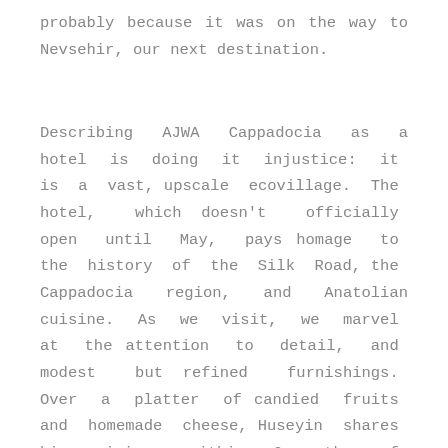probably because it was on the way to Nevsehir, our next destination.
Describing AJWA Cappadocia as a hotel is doing it injustice: it is a vast, upscale ecovillage. The hotel, which doesn't officially open until May, pays homage to the history of the Silk Road, the Cappadocia region, and Anatolian cuisine. As we visit, we marvel at the attention to detail, and modest but refined furnishings. Over a platter of candied fruits and homemade cheese, Huseyin shares his vision; within 6 months of opening, he plans for the